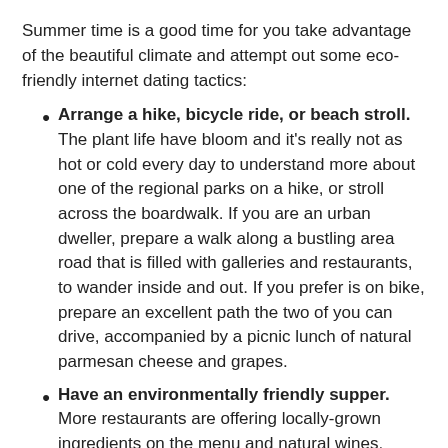Summer time is a good time for you take advantage of the beautiful climate and attempt out some eco-friendly internet dating tactics:
Arrange a hike, bicycle ride, or beach stroll. The plant life have bloom and it’s really not as hot or cold every day to understand more about one of the regional parks on a hike, or stroll across the boardwalk. If you are an urban dweller, prepare a walk along a bustling area road that is filled with galleries and restaurants, to wander inside and out. If you prefer is on bike, prepare an excellent path the two of you can drive, accompanied by a picnic lunch of natural parmesan cheese and grapes.
Have an environmentally friendly supper. More restaurants are offering locally-grown ingredients on the menu and natural wines. Now’s time for you to do some research and try one out.
check out your local farmer’s industry. in the event